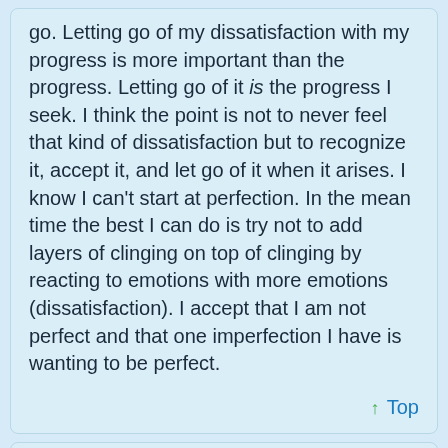go. Letting go of my dissatisfaction with my progress is more important than the progress. Letting go of it is the progress I seek. I think the point is not to never feel that kind of dissatisfaction but to recognize it, accept it, and let go of it when it arises. I know I can't start at perfection. In the mean time the best I can do is try not to add layers of clinging on top of clinging by reacting to emotions with more emotions (dissatisfaction). I accept that I am not perfect and that one imperfection I have is wanting to be perfect.
↑ Top